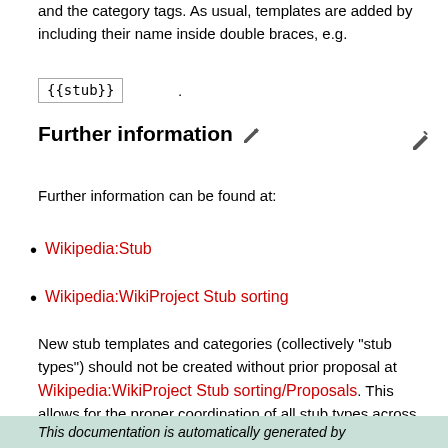and the category tags. As usual, templates are added by including their name inside double braces, e.g.
Further information
Further information can be found at:
Wikipedia:Stub
Wikipedia:WikiProject Stub sorting
New stub templates and categories (collectively "stub types") should not be created without prior proposal at Wikipedia:WikiProject Stub sorting/Proposals. This allows for the proper coordination of all stub types across Wikipedia, and for the checking of any new stub type for possible problems prior to its creation.
This documentation is automatically generated by